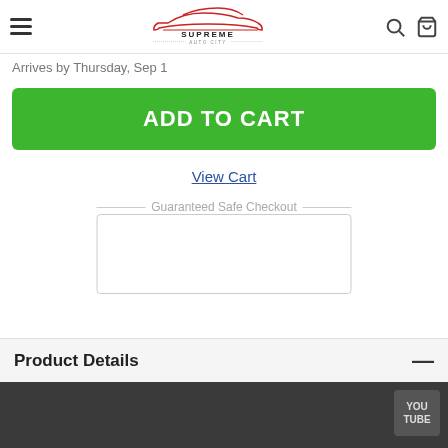Supreme Auto City
Arrives by Thursday, Sep 1
ADD TO CART
View Cart
Guaranteed Safe Checkout
Product Details